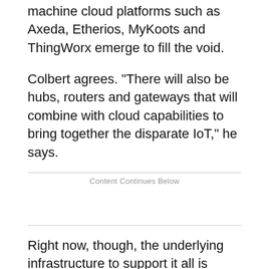machine cloud platforms such as Axeda, Etherios, MyKoots and ThingWorx emerge to fill the void.
Colbert agrees. "There will also be hubs, routers and gateways that will combine with cloud capabilities to bring together the disparate IoT," he says.
Content Continues Below
Right now, though, the underlying infrastructure to support it all is inadequate, says McKenna-Doyle. "These days, CIOs have to be the integrators of all of these specialty devices and capabilities," she says.
Fortunately, IT is very good at dealing with these